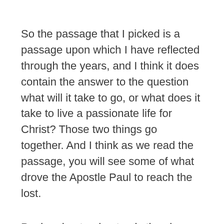So the passage that I picked is a passage upon which I have reflected through the years, and I think it does contain the answer to the question what will it take to go, or what does it take to live a passionate life for Christ? Those two things go together. And I think as we read the passage, you will see some of what drove the Apostle Paul to reach the lost.
Paul understood not only the charge, but he understood the urgency of the moment. There is an urgency as we live this life,